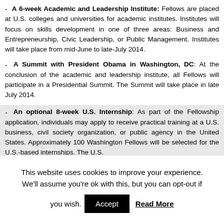A 6-week Academic and Leadership Institute: Fellows are placed at U.S. colleges and universities for academic institutes. Institutes will focus on skills development in one of three areas: Business and Entrepreneurship, Civic Leadership, or Public Management. Institutes will take place from mid-June to late-July 2014.
A Summit with President Obama in Washington, DC: At the conclusion of the academic and leadership institute, all Fellows will participate in a Presidential Summit. The Summit will take place in late July 2014.
An optional 8-week U.S. Internship: As part of the Fellowship application, individuals may apply to receive practical training at a U.S. business, civil society organization, or public agency in the United States. Approximately 100 Washington Fellows will be selected for the U.S.-based internships. The U.S.
This website uses cookies to improve your experience. We'll assume you're ok with this, but you can opt-out if you wish. Accept Read More